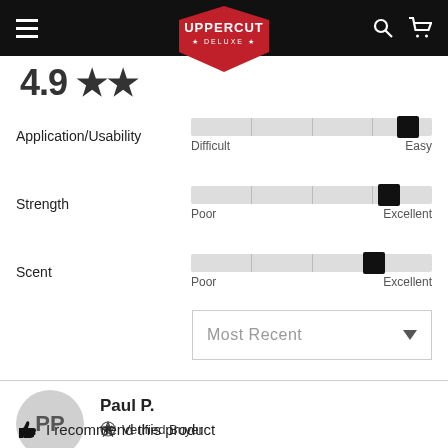[Figure (screenshot): Uppercut Deluxe navigation bar with hamburger menu, red shield logo, search and cart icons on black background]
4.9 ★★
[Figure (infographic): Application/Usability slider bar with thumb near far right (Easy end). Labels: Difficult / Easy.]
[Figure (infographic): Strength slider bar with thumb near right (Excellent end). Labels: Poor / Excellent.]
[Figure (infographic): Scent slider bar with thumb slightly left of far right (Excellent end). Labels: Poor / Excellent.]
[Figure (infographic): Most Recent dropdown selector]
Paul P.
Verified Buyer
I recommend this product